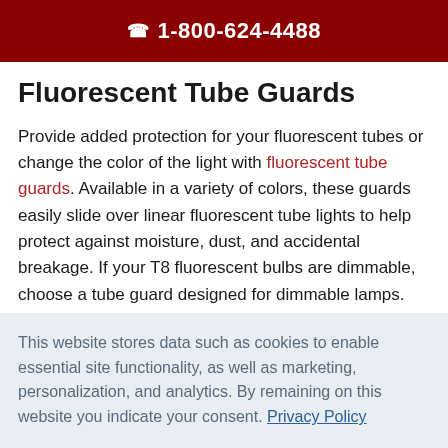☎ 1-800-624-4488
Fluorescent Tube Guards
Provide added protection for your fluorescent tubes or change the color of the light with fluorescent tube guards. Available in a variety of colors, these guards easily slide over linear fluorescent tube lights to help protect against moisture, dust, and accidental breakage. If your T8 fluorescent bulbs are dimmable, choose a tube guard designed for dimmable lamps. For clean rooms and photo labs, look for UV blocking tubes.
How to Dispose of Fluorescent Tubes
This website stores data such as cookies to enable essential site functionality, as well as marketing, personalization, and analytics. By remaining on this website you indicate your consent. Privacy Policy